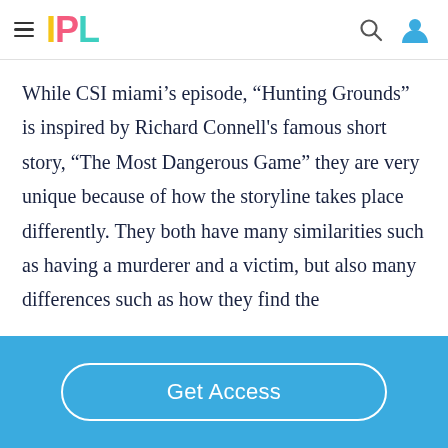IPL
While CSI miami’s episode, “Hunting Grounds” is inspired by Richard Connell's famous short story, “The Most Dangerous Game” they are very unique because of how the storyline takes place differently. They both have many similarities such as having a murderer and a victim, but also many differences such as how they find the
Get Access